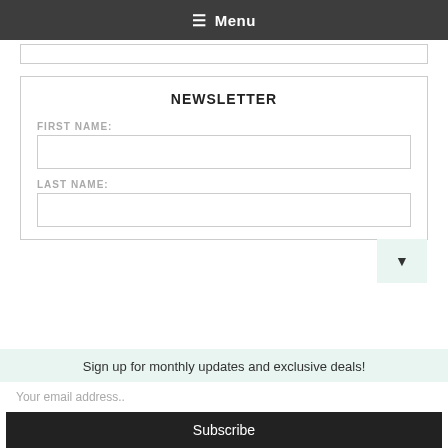☰ Menu
NEWSLETTER
FIRST NAME:
LAST NAME:
Sign up for monthly updates and exclusive deals!
Your email address..
Subscribe